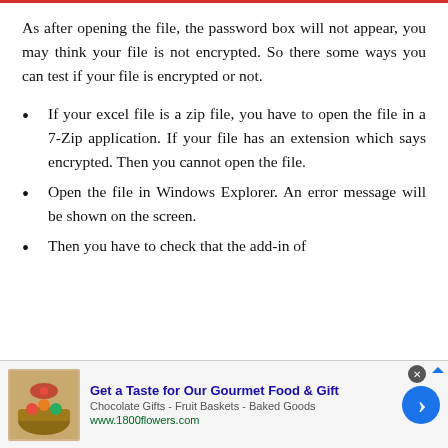As after opening the file, the password box will not appear, you may think your file is not encrypted. So there some ways you can test if your file is encrypted or not.
If your excel file is a zip file, you have to open the file in a 7-Zip application. If your file has an extension which says encrypted. Then you cannot open the file.
Open the file in Windows Explorer. An error message will be shown on the screen.
Then you have to check that the add-in of
[Figure (other): Advertisement banner: Get a Taste for Our Gourmet Food & Gift. Chocolate Gifts - Fruit Baskets - Baked Goods. www.1800flowers.com]